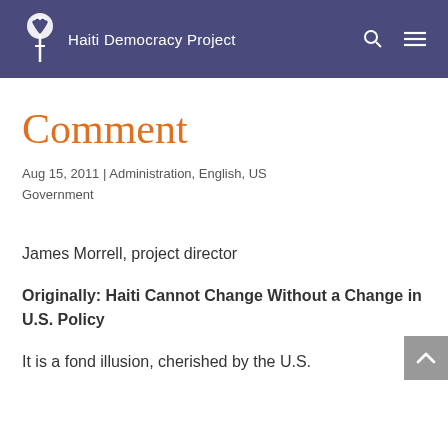Haiti Democracy Project
Comment
Aug 15, 2011 | Administration, English, US Government
James Morrell, project director
Originally: Haiti Cannot Change Without a Change in U.S. Policy
It is a fond illusion, cherished by the U.S.